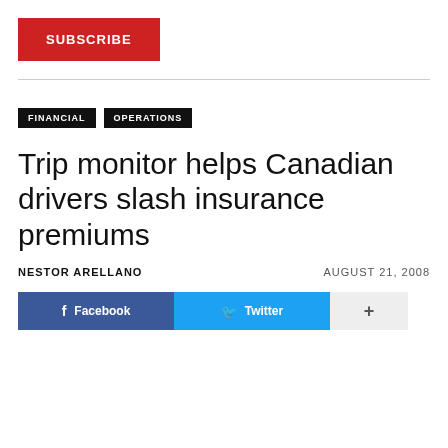[Figure (other): Red SUBSCRIBE button]
FINANCIAL   OPERATIONS
Trip monitor helps Canadian drivers slash insurance premiums
NESTOR ARELLANO   AUGUST 21, 2008
[Figure (other): Social sharing buttons: Facebook, Twitter, plus]